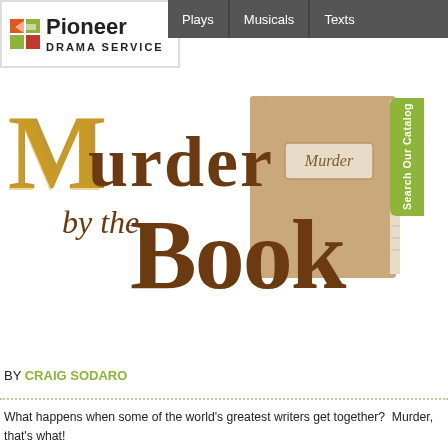[Figure (logo): Pioneer Drama Service logo with orange/red arrow icon and bold text 'Pioneer Drama Service']
Plays    Musicals    Texts
[Figure (illustration): Decorative title illustration reading 'Murder by the Book' in ornate brown and gold lettering with a tan/brown book graphic on the right side labeled 'Murder'. A green 'Search Our Catalog' tab appears on the far right.]
BY CRAIG SODARO
What happens when some of the world's greatest writers get together?  Murder, that's what! meeting to select the best mystery book of the year to win the coveted Smoking Gun Award. membership in this sacred club is secret, even amongst themselves.  Each member attends